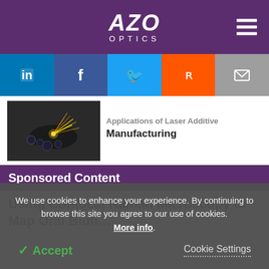AZO OPTICS
[Figure (screenshot): Social media sharing buttons: LinkedIn, Facebook, Twitter, Reddit, Email]
[Figure (photo): Laser sparks/manufacturing photo thumbnail]
Applications of Laser Additive Manufacturing
Sponsored Content
Using Confocal Raman Microscopy to Map Oral Biofi...
We use cookies to enhance your experience. By continuing to browse this site you agree to our use of cookies. More info.
✓ Accept
Cookie Settings